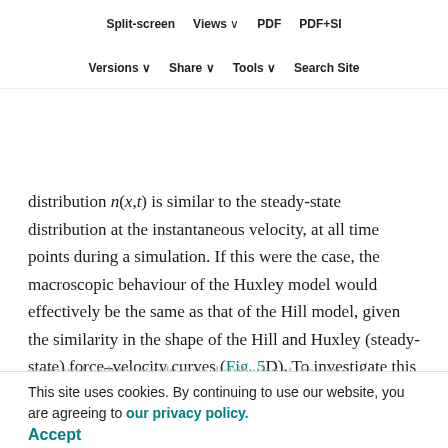Is the similarity between the model predictions of the Hill and Huxley models, over a wide range of contraction conditions, might be seen this similarity arises in the the dynamics of cross-bridge cycling are so fast that the
Split-screen | Views | PDF | PDF+SI | Versions | Share | Tools | Search Site
distribution n(x,t) is similar to the steady-state distribution at the instantaneous velocity, at all time points during a simulation. If this were the case, the macroscopic behaviour of the Huxley model would effectively be the same as that of the Hill model, given the similarity in the shape of the Hill and Huxley (steady-state) force–velocity curves (Fig. 5D). To investigate this possibility, the distribution n(x) during a simulation of an SSC was
compared with the steady-state distribution at the same instantaneous velocity, activation level and relative CE length, at four different time points (Fig. 7). As can be appreciated from Fig. 7, the two distributions differed at
This site uses cookies. By continuing to use our website, you are agreeing to our privacy policy. Accept